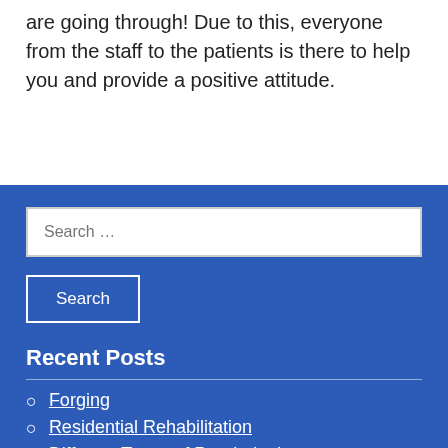are going through! Due to this, everyone from the staff to the patients is there to help you and provide a positive attitude.
Search …
Search
Recent Posts
Forging
Residential Rehabilitation
Different Types of Psychologists